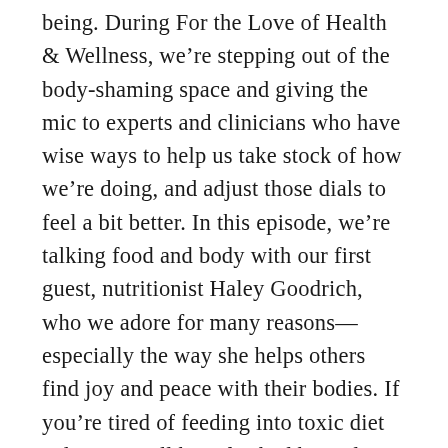being. During For the Love of Health & Wellness, we're stepping out of the body-shaming space and giving the mic to experts and clinicians who have wise ways to help us take stock of how we're doing, and adjust those dials to feel a bit better. In this episode, we're talking food and body with our first guest, nutritionist Haley Goodrich, who we adore for many reasons—especially the way she helps others find joy and peace with their bodies. If you're tired of feeding into toxic diet culture, you'll be refreshed by Haley's “Health at Every Size” philosophy that says you are worthy of caring for your body in ways that make you...